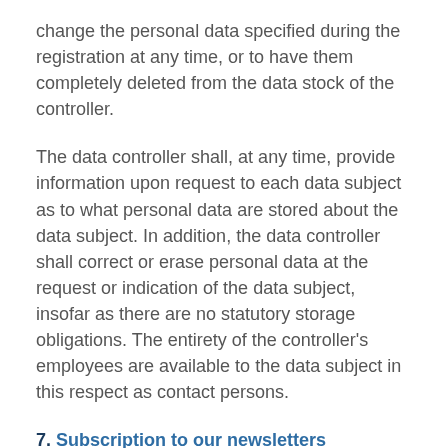change the personal data specified during the registration at any time, or to have them completely deleted from the data stock of the controller.
The data controller shall, at any time, provide information upon request to each data subject as to what personal data are stored about the data subject. In addition, the data controller shall correct or erase personal data at the request or indication of the data subject, insofar as there are no statutory storage obligations. The entirety of the controller's employees are available to the data subject in this respect as contact persons.
7. Subscription to our newsletters
On the website of careers.sh, users are given the opportunity to subscribe to our enterprise's newsletter. The input mask used for this purpose determines what